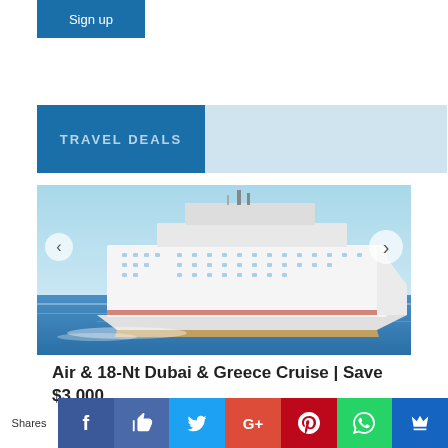Sign up
TRAVEL DEALS
[Figure (photo): Large white cruise ship sailing on blue ocean water with clear sky background]
Air & 18-Nt Dubai & Greece Cruise | Save $3,000
Shares | Facebook | Like | Twitter | Google+ | Pinterest | WhatsApp | Save